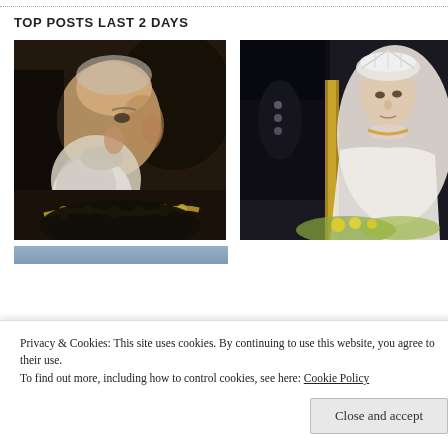TOP POSTS LAST 2 DAYS
[Figure (photo): Portrait painting of an elderly bearded man in dark robes with a golden chain, facing left profile]
[Figure (photo): Queen Elizabeth II in white gown and tiara seated at a formal event]
Privacy & Cookies: This site uses cookies. By continuing to use this website, you agree to their use.
To find out more, including how to control cookies, see here: Cookie Policy
Close and accept